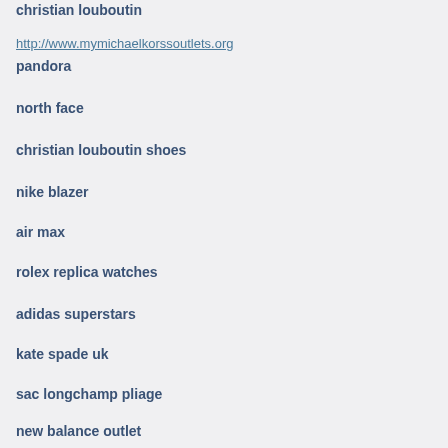christian louboutin
http://www.mymichaelkorssoutlets.org
pandora
north face
christian louboutin shoes
nike blazer
air max
rolex replica watches
adidas superstars
kate spade uk
sac longchamp pliage
new balance outlet
north face uk